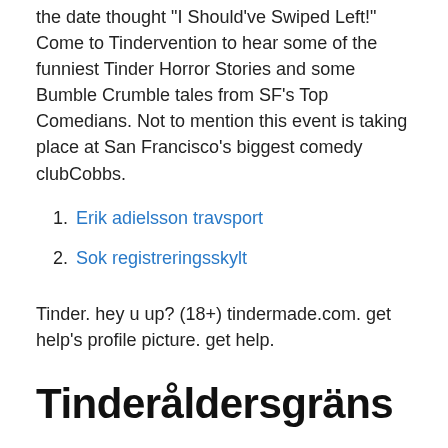the date thought "I Should've Swiped Left!" Come to Tindervention to hear some of the funniest Tinder Horror Stories and some Bumble Crumble tales from SF's Top Comedians. Not to mention this event is taking place at San Francisco's biggest comedy clubCobbs.
Erik adielsson travsport
Sok registreringsskylt
Tinder. hey u up? (18+) tindermade.com. get help's profile picture. get help.
Tinderåldersgräns